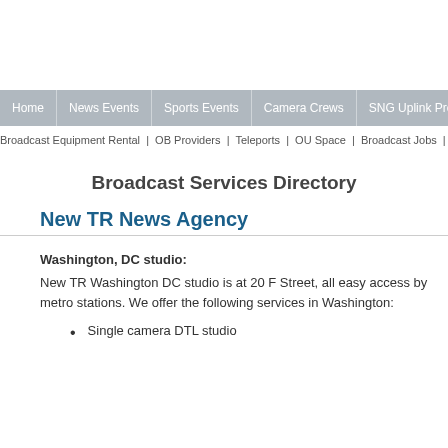Home | News Events | Sports Events | Camera Crews | SNG Uplink Providers | Live IP | Broadcast Equipment Rental | OB Providers | Teleports | OU Space | Broadcast Jobs | Ne…
Broadcast Services Directory
New TR News Agency
Washington, DC studio:
New TR Washington DC studio is at 20 F Street, all easy access by metro stations. We offer the following services in Washington:
Single camera DTL studio